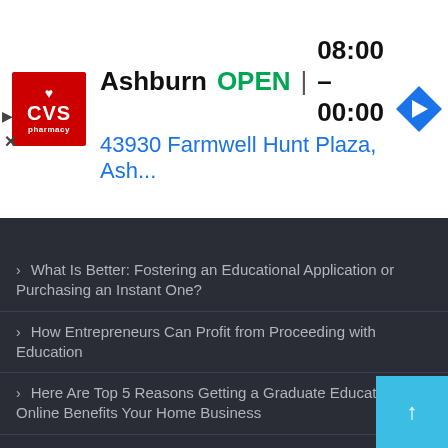[Figure (screenshot): CVS Pharmacy advertisement banner showing Ashburn location, OPEN status, hours 08:00 – 00:00, and address 43930 Farmwell Hunt Plaza, Ash...]
What Is Better: Fostering an Educational Application or Purchasing an Instant One?
How Entrepreneurs Can Profit from Proceeding with Education
Here Are Top 5 Reasons Getting a Graduate Education Online Benefits Your Home Business
What We Need More in Education: Genuine Qualities
Step by step instructions to Proceed Your Education Online:  Tools, Applications, and Tricks of the trade to Attempt